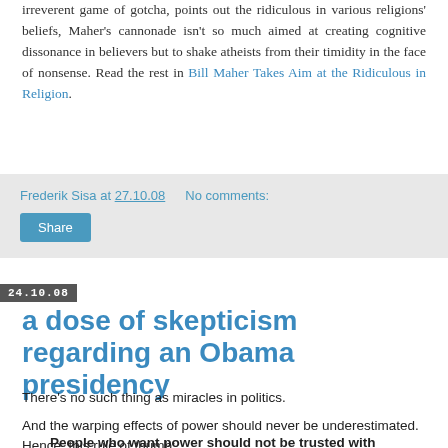irreverent game of gotcha, points out the ridiculous in various religions' beliefs, Maher's cannonade isn't so much aimed at creating cognitive dissonance in believers but to shake atheists from their timidity in the face of nonsense. Read the rest in Bill Maher Takes Aim at the Ridiculous in Religion.
Frederik Sisa at 27.10.08   No comments:
Share
24.10.08
a dose of skepticism regarding an Obama presidency
There's no such thing as miracles in politics.
And the warping effects of power should never be underestimated. Hence, this rule of thumb:
People who want power should not be trusted with